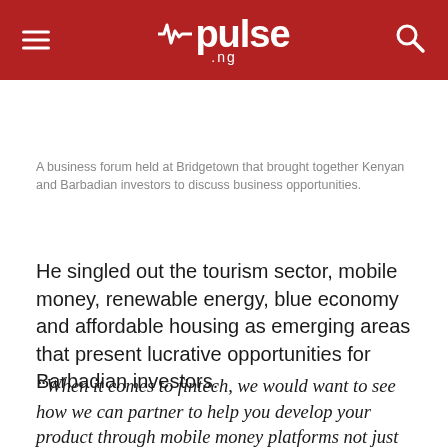pulse.ng
A business forum held at Bridgetown that brought together Kenyan and Barbadian investors to discuss business opportunities.
He singled out the tourism sector, mobile money, renewable energy, blue economy and affordable housing as emerging areas that present lucrative opportunities for Barbadian investors.
“When it comes to fintech, we would want to see how we can partner to help you develop your product through mobile money platforms not just for Barbados but for the wider CARICOM region,” the Barbadian said...